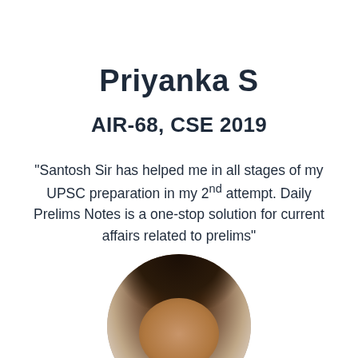Priyanka S
AIR-68, CSE 2019
“Santosh Sir has helped me in all stages of my UPSC preparation in my 2nd attempt. Daily Prelims Notes is a one-stop solution for current affairs related to prelims”
[Figure (photo): Circular portrait photo of Priyanka S, showing a woman with dark hair, partially cropped at the bottom of the page]